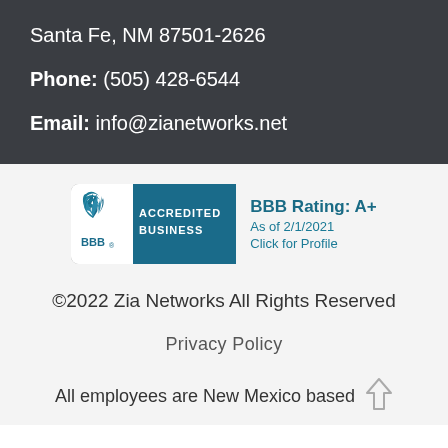Santa Fe, NM 87501-2626
Phone: (505) 428-6544
Email: info@zianetworks.net
[Figure (logo): BBB Accredited Business logo with teal background and white text, showing BBB shield flame icon on left and 'ACCREDITED BUSINESS' text on right, with 'BBB.' below the shield]
BBB Rating: A+
As of 2/1/2021
Click for Profile
©2022 Zia Networks All Rights Reserved
Privacy Policy
All employees are New Mexico based